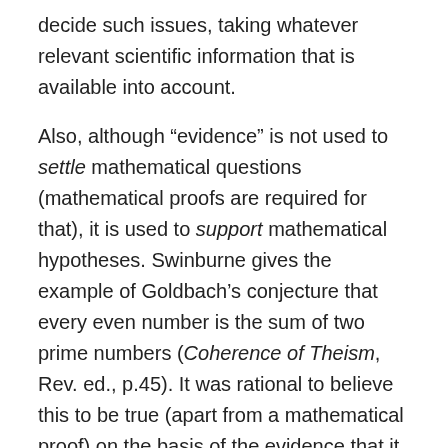decide such issues, taking whatever relevant scientific information that is available into account.

Also, although “evidence” is not used to settle mathematical questions (mathematical proofs are required for that), it is used to support mathematical hypotheses. Swinburne gives the example of Goldbach’s conjecture that every even number is the sum of two prime numbers (Coherence of Theism, Rev. ed., p.45). It was rational to believe this to be true (apart from a mathematical proof) on the basis of the evidence that it held true for every one of the many even numbers that has been examined. Thus, evidence is applicable to legal questions,